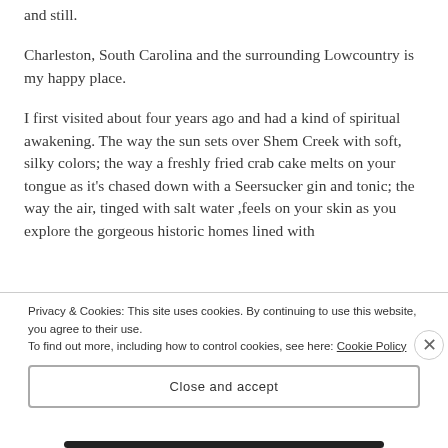and still.
Charleston, South Carolina and the surrounding Lowcountry is my happy place.
I first visited about four years ago and had a kind of spiritual awakening. The way the sun sets over Shem Creek with soft, silky colors; the way a freshly fried crab cake melts on your tongue as it’s chased down with a Seersucker gin and tonic; the way the air, tinged with salt water ,feels on your skin as you explore the gorgeous historic homes lined with
Privacy & Cookies: This site uses cookies. By continuing to use this website, you agree to their use.
To find out more, including how to control cookies, see here: Cookie Policy
Close and accept